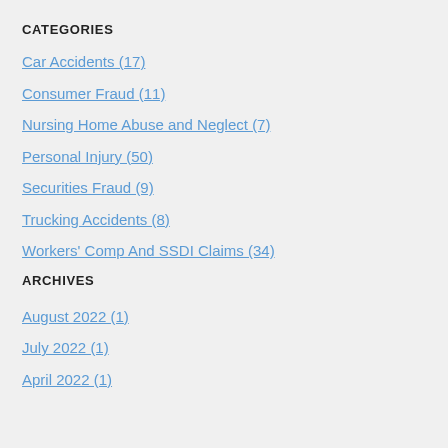CATEGORIES
Car Accidents (17)
Consumer Fraud (11)
Nursing Home Abuse and Neglect (7)
Personal Injury (50)
Securities Fraud (9)
Trucking Accidents (8)
Workers' Comp And SSDI Claims (34)
ARCHIVES
August 2022 (1)
July 2022 (1)
April 2022 (1)